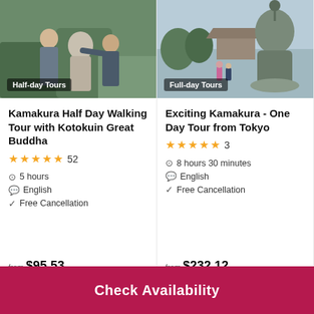[Figure (photo): Tourist posing with stone statue, Half-day Tours badge]
Kamakura Half Day Walking Tour with Kotokuin Great Buddha
★★★★★ 52
5 hours
English
Free Cancellation
from $95.53
[Figure (photo): Great Buddha statue with visitors, Full-day Tours badge]
Exciting Kamakura - One Day Tour from Tokyo
★★★★★ 3
8 hours 30 minutes
English
Free Cancellation
from $232.12
Check Availability